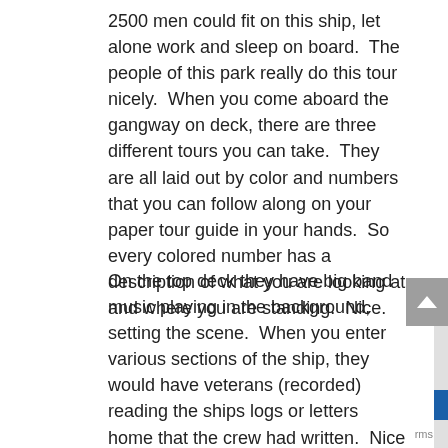2500 men could fit on this ship, let alone work and sleep on board.  The people of this park really do this tour nicely.  When you come aboard the gangway on deck, there are three different tours you can take.  They are all laid out by color and numbers that you can follow along on your paper tour guide in your hands.  So every colored number has a description of what you are looking at and where you are standing.  Nice.
On the top deck they have big band music playing in the background, setting the scene.  When you enter various sections of the ship, they would have veterans (recorded) reading the ships logs or letters home that the crew had written.  Nice touches throughout the ship really made it a nice tour.  Lots of memorabilia around the ship trying to give it a